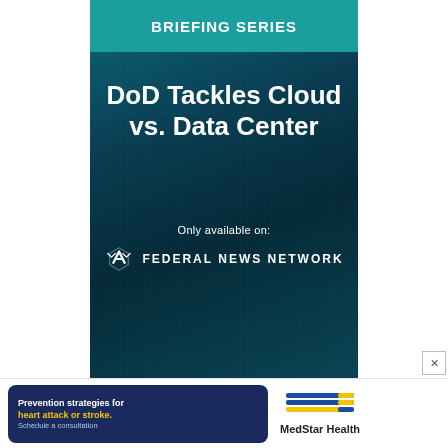BRIEFING SERIES
DoD Tackles Cloud vs. Data Center
Only available on:
[Figure (logo): Federal News Network logo with stylized FNN icon and text 'FEDERAL NEWS NETWORK' in white on dark teal data center background]
[Figure (infographic): MedStar Health advertisement banner with dark blue background on left side reading 'Prevention strategies for heart attack or stroke. Schedule a consultation.' with yellow highlighted text, and MedStar Health logo on right side]